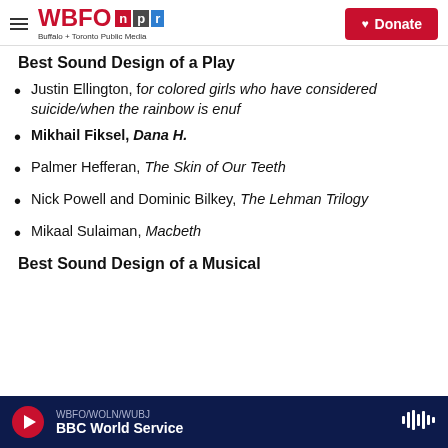WBFO npr — Buffalo + Toronto Public Media — Donate
Best Sound Design of a Play
Justin Ellington, for colored girls who have considered suicide/when the rainbow is enuf
Mikhail Fiksel, Dana H.
Palmer Hefferan, The Skin of Our Teeth
Nick Powell and Dominic Bilkey, The Lehman Trilogy
Mikaal Sulaiman, Macbeth
Best Sound Design of a Musical
WBFO/WOLN/WUBJ — BBC World Service